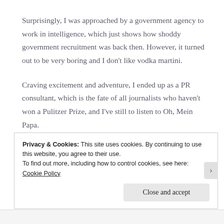Surprisingly, I was approached by a government agency to work in intelligence, which just shows how shoddy government recruitment was back then. However, it turned out to be very boring and I don't like vodka martini.
Craving excitement and adventure, I ended up as a PR consultant, which is the fate of all journalists who haven't won a Pulitzer Prize, and I've still to listen to Oh, Mein Papa.
Privacy & Cookies: This site uses cookies. By continuing to use this website, you agree to their use.
To find out more, including how to control cookies, see here: Cookie Policy